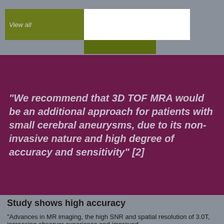View all
“We recommend that 3D TOF MRA would be an additional approach for patients with small cerebral aneurysms, due to its non-invasive nature and high degree of accuracy and sensitivity” [2]
Study shows high accuracy
“Advances in MR imaging, the high SNR and spatial resolution of 3.0T, increasing observer experience and improved